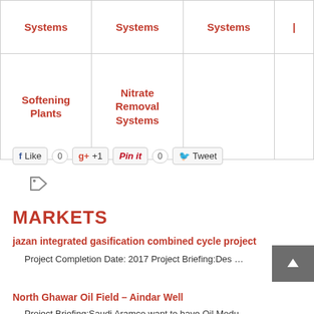| Systems | Systems | Systems |  |
| --- | --- | --- | --- |
| Softening Plants | Nitrate Removal Systems |  |  |
Like 0  +1  Pin it 0  Tweet
MARKETS
jazan integrated gasification combined cycle project
Project Completion Date: 2017 Project Briefing:Des …
North Ghawar Oil Field – Aindar Well
Project Briefing:Saudi Aramco want to have Oil Modu…